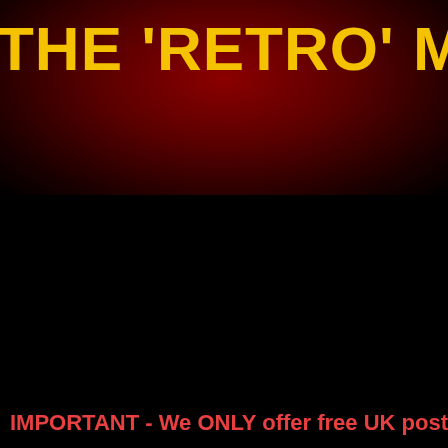THE 'RETRO' MADNE
The World's Largest Selection of Deleted
Best Buys 2022 · STUFF · 7s · 12s · LPs · C
SMALLER · MEDIUM · LARGER · POSTERs · MU
IMPORTANT - We ONLY offer free UK post